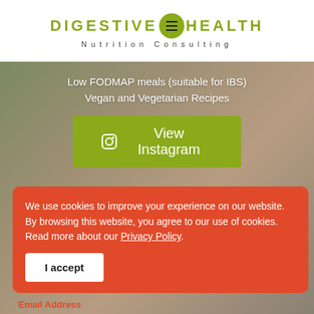[Figure (logo): Digestive Health Nutrition Consulting logo with olive green text and circle with hamburger icon]
Low FODMAP meals (suitable for IBS)
Vegan and Vegetarian Recipes
View Instagram
We use cookies to improve your experience on our website. By browsing this website, you agree to our use of cookies. Read more about our Privacy Policy.
I accept
Email Address